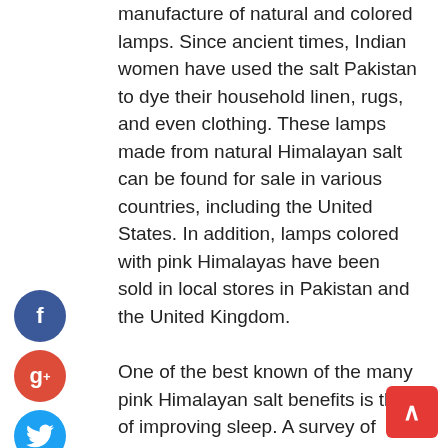manufacture of natural and colored lamps. Since ancient times, Indian women have used the salt Pakistan to dye their household linen, rugs, and even clothing. These lamps made from natural Himalayan salt can be found for sale in various countries, including the United States. In addition, lamps colored with pink Himalayas have been sold in local stores in Pakistan and the United Kingdom.
One of the best known of the many pink Himalayan salt benefits is that of improving sleep. A survey of elderly people in Pakistan revealed that a high percentage of them needed extra bedtime because their sleeping levels were unsatisfactory. When they tried adding table salt to their food, they noticed that their sleep quality improved, along with their ability to fall asleep. In addition, taking them for two weeks provided
[Figure (other): Social media share buttons: Facebook (blue circle with f), Google+ (red circle with g+), Twitter (light blue circle with bird icon), and an add/share button (blue circle with plus sign)]
[Figure (other): Scroll-to-top button: red rounded rectangle with upward caret arrow]